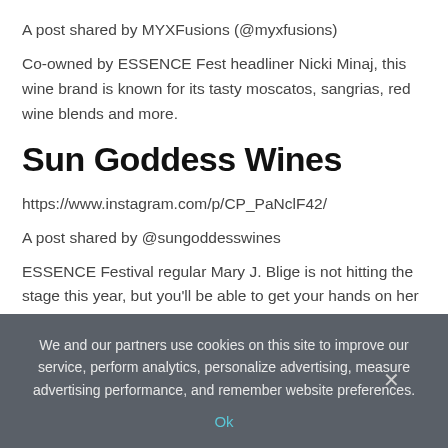A post shared by MYXFusions (@myxfusions)
Co-owned by ESSENCE Fest headliner Nicki Minaj, this wine brand is known for its tasty moscatos, sangrias, red wine blends and more.
Sun Goddess Wines
https://www.instagram.com/p/CP_PaNclF42/
A post shared by @sungoddesswines
ESSENCE Festival regular Mary J. Blige is not hitting the stage this year, but you'll be able to get your hands on her popular
We and our partners use cookies on this site to improve our service, perform analytics, personalize advertising, measure advertising performance, and remember website preferences.
Ok